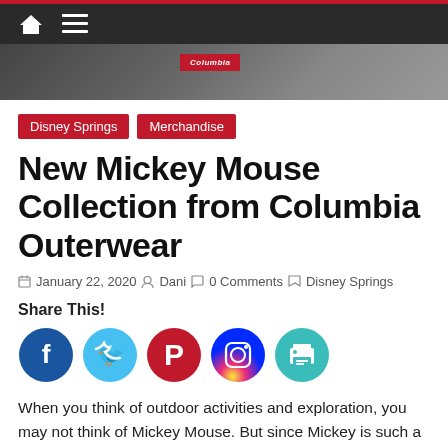Navigation bar with home and menu icons
[Figure (photo): Partial photo showing Columbia Outerwear jacket with Columbia brand tag visible on a red/dark background]
Disney Springs
Merchandise
New Mickey Mouse Collection from Columbia Outerwear
January 22, 2020  Dani  0 Comments  Disney Springs
Share This!
[Figure (infographic): Social media share buttons: Facebook (blue), Twitter (light blue), Pinterest (red), Instagram (gradient), Print (teal)]
When you think of outdoor activities and exploration, you may not think of Mickey Mouse. But since Mickey is such a fun, classic character it seems he is a good match for Columbia, the outerwear company. Columbia has a store location inside Disney